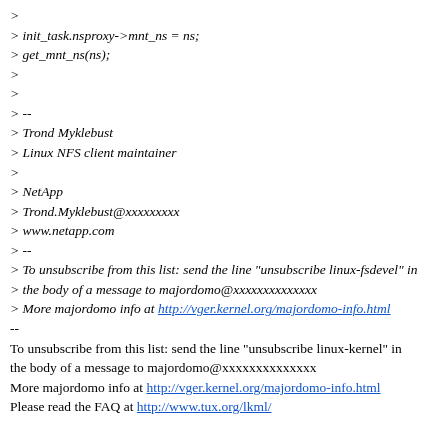> 
> init_task.nsproxy->mnt_ns = ns;
> get_mnt_ns(ns);
>
>
> --
> Trond Myklebust
> Linux NFS client maintainer
>
> NetApp
> Trond.Myklebust@xxxxxxxxx
> www.netapp.com
> --
> To unsubscribe from this list: send the line "unsubscribe linux-fsdevel" in
> the body of a message to majordomo@xxxxxxxxxxxxxx
> More majordomo info at http://vger.kernel.org/majordomo-info.html
--
To unsubscribe from this list: send the line "unsubscribe linux-kernel" in
the body of a message to majordomo@xxxxxxxxxxxxxx
More majordomo info at http://vger.kernel.org/majordomo-info.html
Please read the FAQ at http://www.tux.org/lkml/